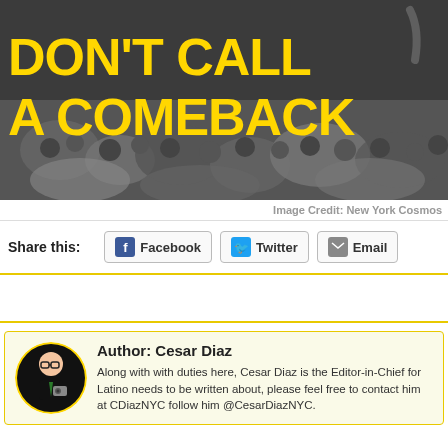[Figure (photo): Black and white photo of a crowd with large yellow bold text overlay reading 'DON'T CALL IT A COMEBACK' — New York Cosmos promotional image]
Image Credit: New York Cosmos
Share this:  Facebook  Twitter  Email
Author: Cesar Diaz
Along with with duties here, Cesar Diaz is the Editor-in-Chief for Latino... needs to be written about, please feel free to contact him at CDiazNYC... follow him @CesarDiazNYC.